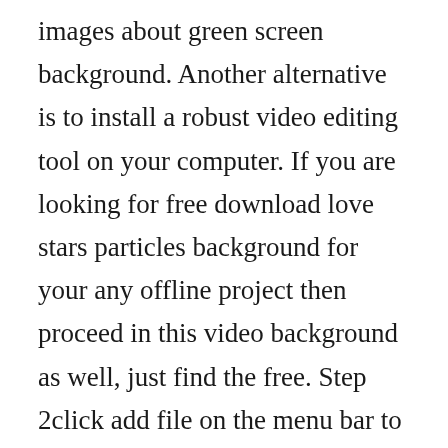images about green screen background. Another alternative is to install a robust video editing tool on your computer. If you are looking for free download love stars particles background for your any offline project then proceed in this video background as well, just find the free. Step 2click add file on the menu bar to select and load videos you want to add background. Best music for films free download background music. One of the best and the state of the art services that are introduced by the apple is imovie application